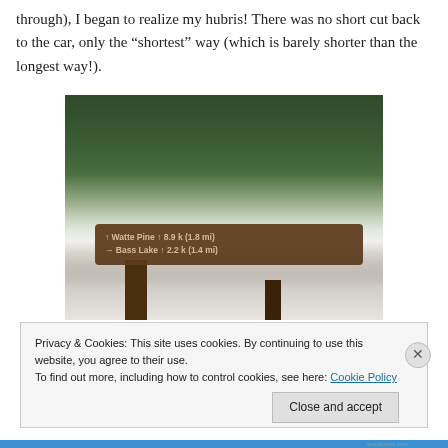through), I began to realize my hubris! There was no short cut back to the car, only the “shortest” way (which is barely shorter than the longest way!).
[Figure (photo): A wooden trail sign in a snowy forest showing directions to Watte Pine and Bass Lake with distances, surrounded by snow-covered ground and pine trees.]
Privacy & Cookies: This site uses cookies. By continuing to use this website, you agree to their use.
To find out more, including how to control cookies, see here: Cookie Policy
Close and accept